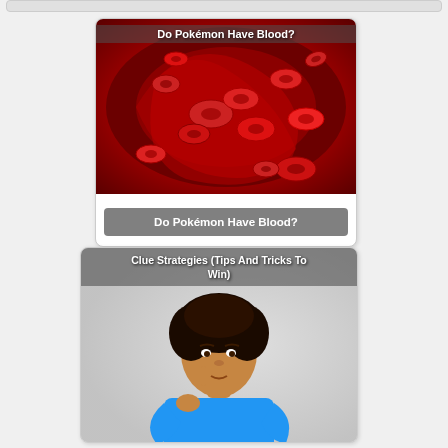[Figure (photo): Card with blood cells microscopy image titled 'Do Pokémon Have Blood?' with overlay title at top and label at bottom]
Do Pokémon Have Blood?
[Figure (photo): Card with photo of a woman thinking, titled 'Clue Strategies (Tips And Tricks To Win)']